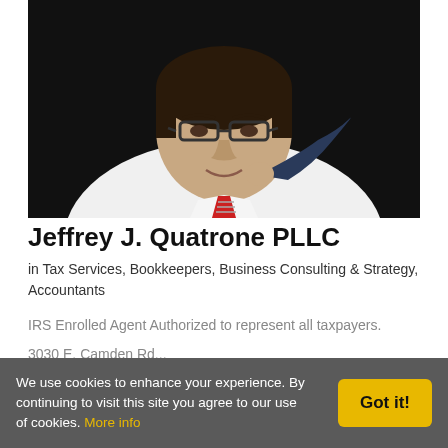[Figure (photo): Professional portrait photo of Jeffrey J. Quatrone, a man in a white dress shirt and red striped tie, holding his suit jacket over his shoulder, against a dark background]
Jeffrey J. Quatrone PLLC
in Tax Services, Bookkeepers, Business Consulting & Strategy, Accountants
IRS Enrolled Agent Authorized to represent all taxpayers.
3030 E. Camden Rd...
We use cookies to enhance your experience. By continuing to visit this site you agree to our use of cookies. More info